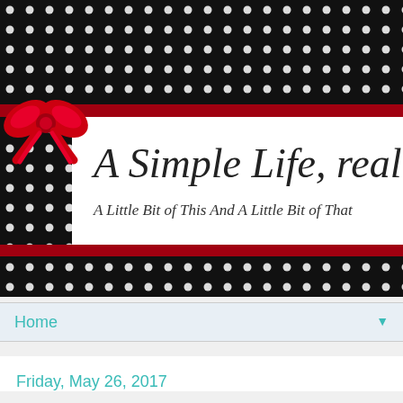[Figure (illustration): Blog header banner with black polka-dot background, red ribbon stripes top and bottom, white card overlay with cursive blog title 'A Simple Life, really' and subtitle 'A Little Bit of This And A Little Bit of That', with a red decorative bow on the left side.]
Home
Friday, May 26, 2017